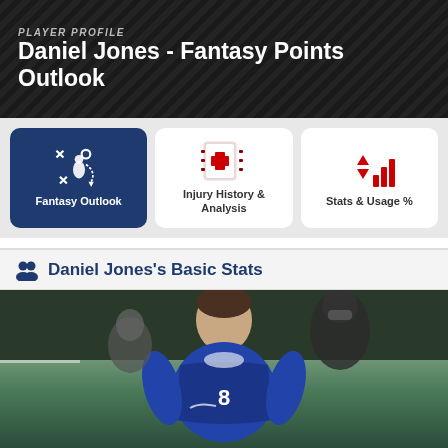PLAYER PROFILE
Daniel Jones - Fantasy Points Outlook
[Figure (infographic): Three navigation tab buttons: Fantasy Outlook (active, dark blue), Injury History & Analysis, Stats & Usage %]
Daniel Jones's Basic Stats
[Figure (photo): Photo of Daniel Jones, NFL quarterback for the New York Giants, wearing blue uniform, walking on field]